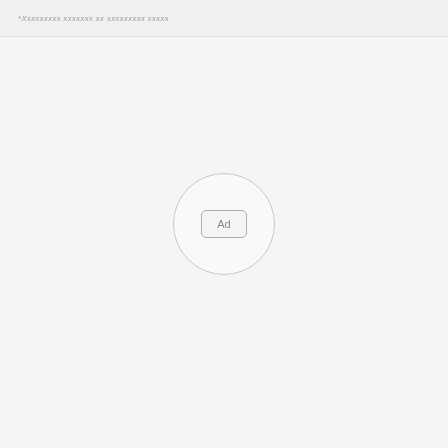*Xxxxxxxxx xxxxxxx xx xxxxxxxxx xxxxx
[Figure (other): Ad placeholder circle with inner box labeled 'Ad']